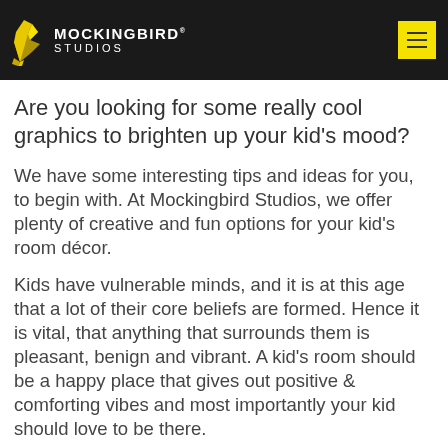[Figure (logo): Mockingbird Studios logo with bird graphic on black header bar, with yellow hamburger menu button on the right]
Are you looking for some really cool graphics to brighten up your kid’s mood?
We have some interesting tips and ideas for you, to begin with. At Mockingbird Studios, we offer plenty of creative and fun options for your kid’s room décor.
Kids have vulnerable minds, and it is at this age that a lot of their core beliefs are formed. Hence it is vital, that anything that surrounds them is pleasant, benign and vibrant. A kid’s room should be a happy place that gives out positive & comforting vibes and most importantly your kid should love to be there.